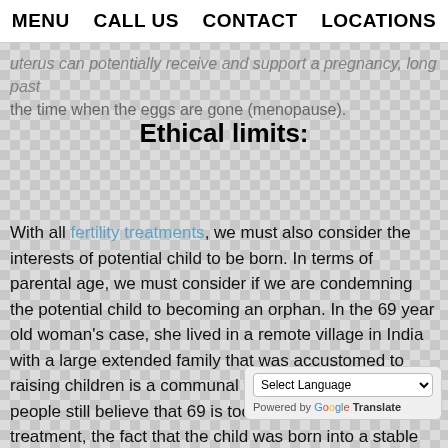MENU   CALL US   CONTACT   LOCATIONS
uterus can potentially receive and support a pregnancy, long past the time when the eggs are gone (menopause).
Ethical limits:
With all fertility treatments, we must also consider the interests of potential child to be born.  In terms of parental age, we must consider if we are condemning the potential child to becoming an orphan.  In the 69 year old woman's case, she lived in a remote village in India with a large extended family that was accustomed to raising children is a communal fashion.  While most people still believe that 69 is too old for fertility treatment, the fact that the child was born into a stable and secure fa[mily with long] term care makes the situation a bit more a[cceptable than if the] mother did not have a support system.